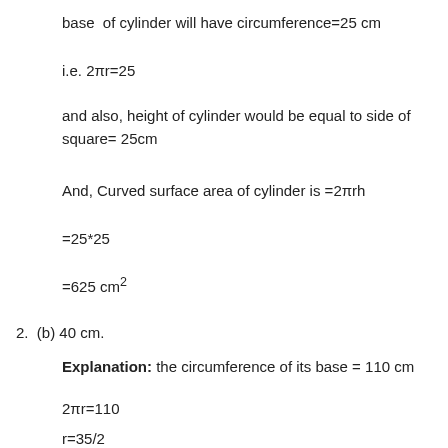base  of cylinder will have circumference=25 cm
i.e. 2πr=25
and also, height of cylinder would be equal to side of square= 25cm
And, Curved surface area of cylinder is =2πrh
=25*25
=625 cm²
2.  (b) 40 cm.
Explanation: the circumference of its base = 110 cm
2πr=110
r=35/2